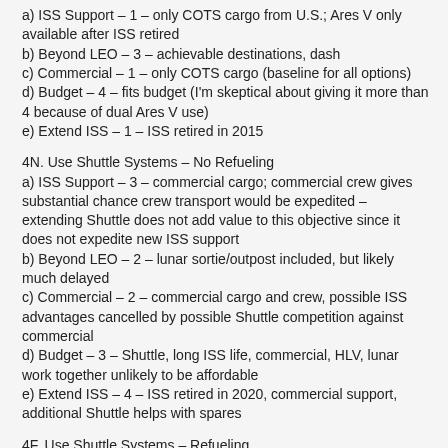a) ISS Support – 1 – only COTS cargo from U.S.; Ares V only available after ISS retired
b) Beyond LEO – 3 – achievable destinations, dash
c) Commercial – 1 – only COTS cargo (baseline for all options)
d) Budget – 4 – fits budget (I'm skeptical about giving it more than 4 because of dual Ares V use)
e) Extend ISS – 1 – ISS retired in 2015
4N. Use Shuttle Systems – No Refueling
a) ISS Support – 3 – commercial cargo; commercial crew gives substantial chance crew transport would be expedited – extending Shuttle does not add value to this objective since it does not expedite new ISS support
b) Beyond LEO – 2 – lunar sortie/outpost included, but likely much delayed
c) Commercial – 2 – commercial cargo and crew, possible ISS advantages cancelled by possible Shuttle competition against commercial
d) Budget – 3 – Shuttle, long ISS life, commercial, HLV, lunar work together unlikely to be affordable
e) Extend ISS – 4 – ISS retired in 2020, commercial support, additional Shuttle helps with spares
4F. Use Shuttle Systems – Refueling
a) ISS Support – 3 – commercial cargo; commercial crew gives substantial chance crew transport would be expedited – extending Shuttle does not add value to this objective since it does not expedite new ISS support